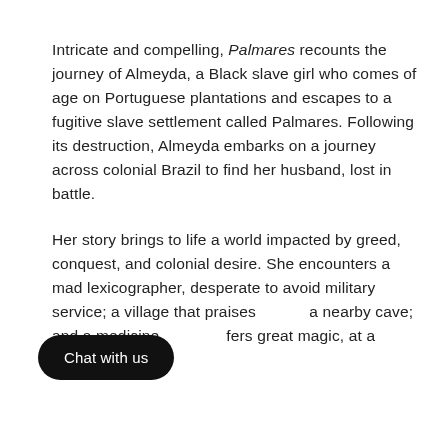Intricate and compelling, Palmares recounts the journey of Almeyda, a Black slave girl who comes of age on Portuguese plantations and escapes to a fugitive slave settlement called Palmares. Following its destruction, Almeyda embarks on a journey across colonial Brazil to find her husband, lost in battle.
Her story brings to life a world impacted by greed, conquest, and colonial desire. She encounters a mad lexicographer, desperate to avoid military service; a village that praises a nearby cave; and a medicine [woman who] offers great magic, at a greater price.
[Figure (other): A black rounded-rectangle button labeled 'Chat with us' overlaid on the text.]